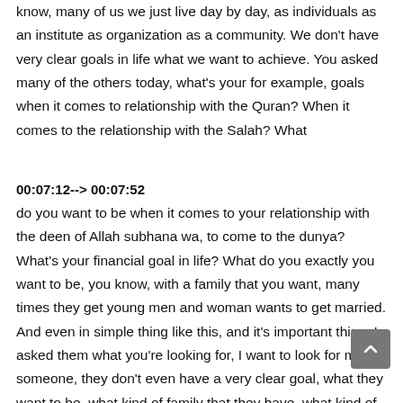know, many of us we just live day by day, as individuals as an institute as organization as a community. We don't have very clear goals in life what we want to achieve. You asked many of the others today, what's your for example, goals when it comes to relationship with the Quran? When it comes to the relationship with the Salah? What
00:07:12--> 00:07:52
do you want to be when it comes to your relationship with the deen of Allah subhana wa, to come to the dunya? What's your financial goal in life? What do you exactly you want to be, you know, with a family that you want, many times they get young men and woman wants to get married. And even in simple thing like this, and it's important thing. I asked them what you're looking for, I want to look for many someone, they don't even have a very clear goal, what they want to be, what kind of family that they have, what kind of spouse that